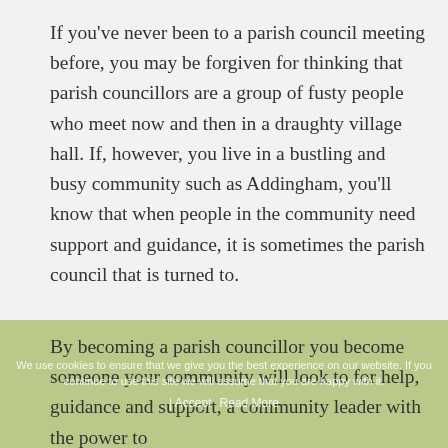If you've never been to a parish council meeting before, you may be forgiven for thinking that parish councillors are a group of fusty people who meet now and then in a draughty village hall. If, however, you live in a bustling and busy community such as Addingham, you'll know that when people in the community need support and guidance, it is sometimes the parish council that is turned to.
By becoming a parish councillor you become someone your community will look to for help, guidance and support, a community leader with the power to
We use cookies to ensure that we give you the best experience on our website. If you continue to use this site we will assume that you are happy with it.